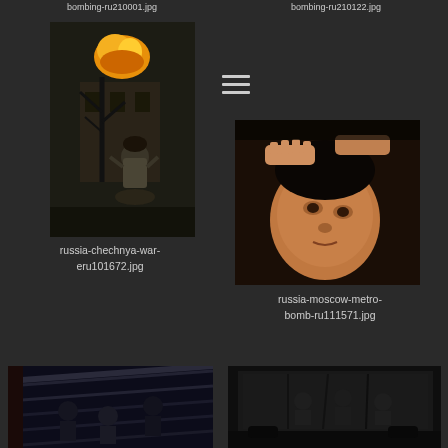bombing-ru210001.jpg
bombing-ru210122.jpg
[Figure (photo): Man in fur hat kneeling and praying in front of a fire and bare tree, war scene]
russia-chechnya-war-eru101672.jpg
[Figure (photo): Close-up of an injured child's face being held, Moscow metro bomb victim]
russia-moscow-metro-bomb-ru111571.jpg
[Figure (photo): People on an escalator in a metro station, emergency scene]
[Figure (photo): Military personnel in or around a truck]